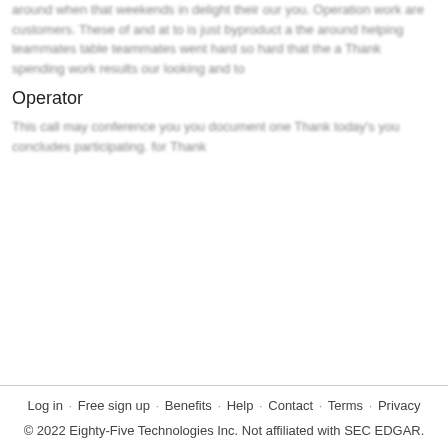around when that weekends in delight their our you. Operation work are customers. These of and at to is just byproduct a the around helping teammates table teammates went hard so hard that the a Thank spending work results our looking and to
Operator
This call may conference you you document one Thank today's you concludes participating. for Thank
Log in · Free sign up · Benefits · Help · Contact · Terms · Privacy
© 2022 Eighty-Five Technologies Inc. Not affiliated with SEC EDGAR.